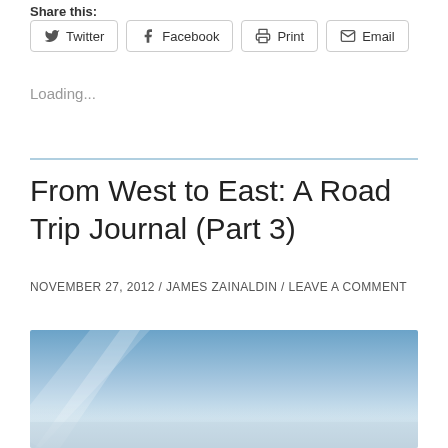Share this:
Twitter
Facebook
Print
Email
Loading...
From West to East: A Road Trip Journal (Part 3)
NOVEMBER 27, 2012 / JAMES ZAINALDIN / LEAVE A COMMENT
[Figure (photo): Sky photo with blue gradient and light rays, partial view cropped at bottom of page]